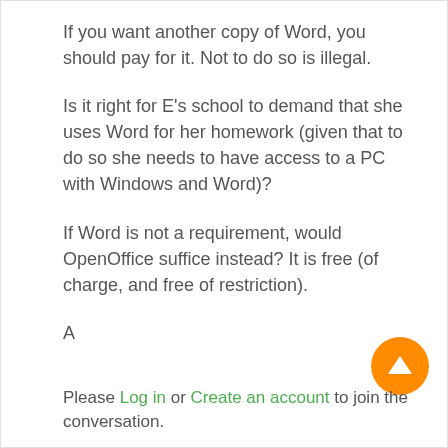If you want another copy of Word, you should pay for it. Not to do so is illegal.
Is it right for E's school to demand that she uses Word for her homework (given that to do so she needs to have access to a PC with Windows and Word)?
If Word is not a requirement, would OpenOffice suffice instead? It is free (of charge, and free of restriction).
A
Please Log in or Create an account to join the conversation.